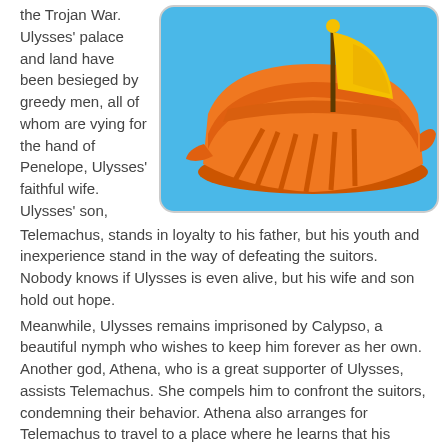the Trojan War. Ulysses' palace and land have been besieged by greedy men, all of whom are vying for the hand of Penelope, Ulysses' faithful wife. Ulysses' son, Telemachus, stands in loyalty to his father, but his youth and inexperience stand in the way of defeating the suitors. Nobody knows if Ulysses is even alive, but his wife and son hold out hope.
[Figure (illustration): Illustration of an ancient Greek/Roman galley ship with orange hull and oars, yellow sail, on a blue background with rounded rectangle border.]
Meanwhile, Ulysses remains imprisoned by Calypso, a beautiful nymph who wishes to keep him forever as her own. Another god, Athena, who is a great supporter of Ulysses, assists Telemachus. She compels him to confront the suitors, condemning their behavior. Athena also arranges for Telemachus to travel to a place where he learns that his father is still alive. However, some of the suitors plan to kill